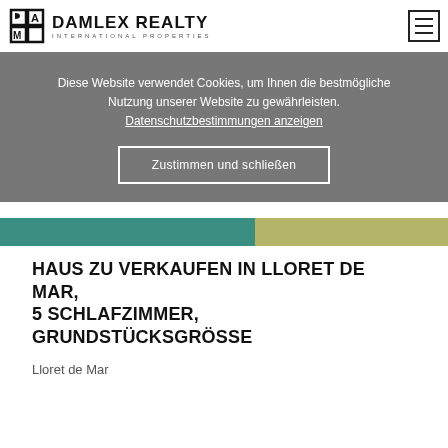DAMLEX REALTY INTERNATIONAL PROPERTIES
Diese Website verwendet Cookies, um Ihnen die bestmögliche Nutzung unserer Website zu gewährleisten. Datenschutzbestimmungen anzeigen
Zustimmen und schließen
HAUS ZU VERKAUFEN IN LLORET DE MAR, 5 SCHLAFZIMMER, GRUNDSTÜCKSGRÖSSE
Lloret de Mar